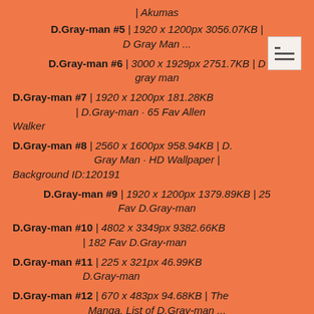| Akumas
D.Gray-man #5 | 1920 x 1200px 3056.07KB | D Gray Man ...
D.Gray-man #6 | 3000 x 1929px 2751.7KB | D gray man
D.Gray-man #7 | 1920 x 1200px 181.28KB D.Gray-man · 65 Fav Allen Walker
D.Gray-man #8 | 2560 x 1600px 958.94KB | D. Gray Man · HD Wallpaper | Background ID:120191
D.Gray-man #9 | 1920 x 1200px 1379.89KB | 25 Fav D.Gray-man
D.Gray-man #10 | 4802 x 3349px 9382.66KB 182 Fav D.Gray-man
D.Gray-man #11 | 225 x 321px 46.99KB D.Gray-man
D.Gray-man #12 | 670 x 483px 94.68KB | The Manga. List of D.Gray-man ...